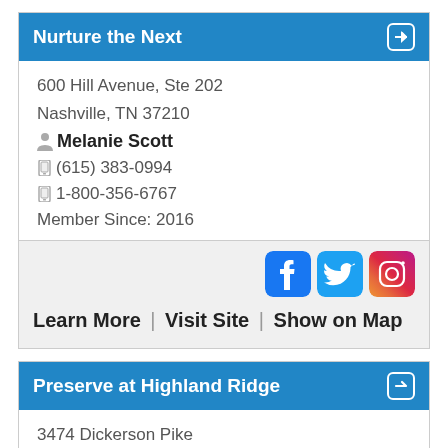Nurture the Next
600 Hill Avenue, Ste 202
Nashville, TN 37210
Melanie Scott
(615) 383-0994
1-800-356-6767
Member Since: 2016
[Figure (logo): Facebook, Twitter, and Instagram social media icons]
Learn More | Visit Site | Show on Map
Preserve at Highland Ridge
3474 Dickerson Pike
Nashville, TN 37207
Holly McAllister
(615) 942-2088
Member Since: 2019